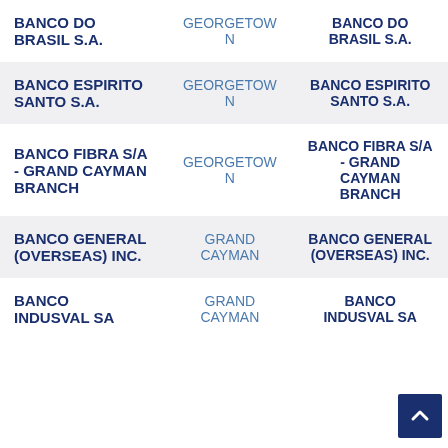|  |  |  |
| --- | --- | --- |
| BANCO DO BRASIL S.A. | GEORGETOWN | BANCO DO BRASIL S.A. |
| BANCO ESPIRITO SANTO S.A. | GEORGETOWN | BANCO ESPIRITO SANTO S.A. |
| BANCO FIBRA S/A - GRAND CAYMAN BRANCH | GEORGETOWN | BANCO FIBRA S/A - GRAND CAYMAN BRANCH |
| BANCO GENERAL (OVERSEAS) INC. | GRAND CAYMAN | BANCO GENERAL (OVERSEAS) INC. |
| BANCO INDUSVAL SA | GRAND CAYMAN | BANCO INDUSVAL SA |